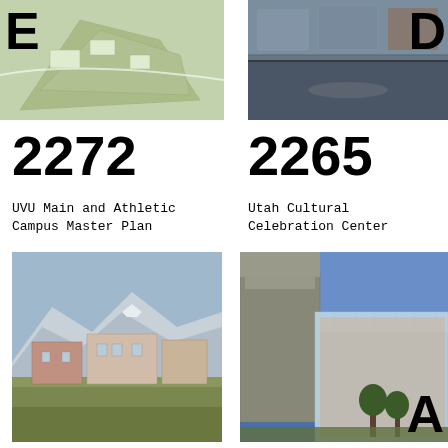[Figure (photo): Aerial/site plan view of UVU campus, top-left image with large letter E overlay]
Menu
[Figure (photo): Interior photo of Utah Cultural Celebration Center, top-right image with large letter D overlay]
2272
2265
UVU Main and Athletic Campus Master Plan
Utah Cultural Celebration Center
[Figure (photo): Exterior photo of UVU campus buildings with mountains in background]
[Figure (photo): Exterior photo of Utah Cultural Celebration Center with glass facade, letter A overlay at bottom-right]